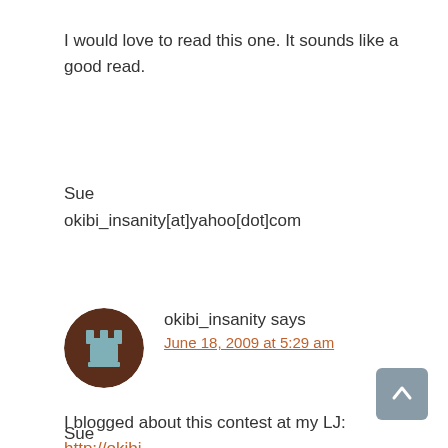I would love to read this one. It sounds like a good read.
Sue
okibi_insanity[at]yahoo[dot]com
[Figure (illustration): User avatar: circular icon with brown background and a grey/teal chess-piece-like symbol in the center]
okibi_insanity says
June 18, 2009 at 5:29 am
I blogged about this contest at my LJ:
http://okibi-insanity.livejournal.com/9199.html#cutid1
Sue